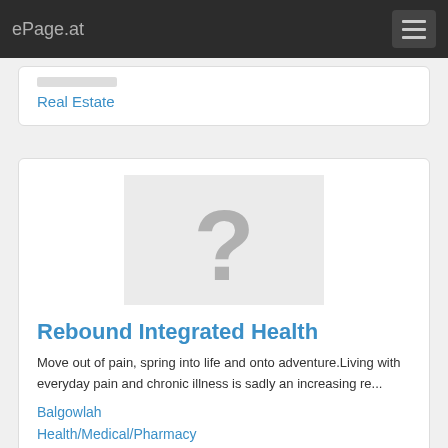ePage.at
Real Estate
[Figure (illustration): Placeholder image with a large grey question mark on a light grey background]
Rebound Integrated Health
Move out of pain, spring into life and onto adventure.Living with everyday pain and chronic illness is sadly an increasing re...
Balgowlah
Health/Medical/Pharmacy